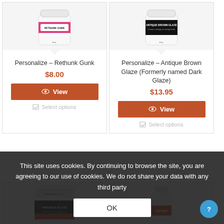[Figure (screenshot): Product card for Personalize – Rethunk Gunk showing product image (white jar with pink label), price, View button, and Select options link]
[Figure (screenshot): Product card for Personalize – Antique Brown Glaze (Formerly named Dark Glaze) showing product image (white jar with black label), price, View button, and Select options link]
[Figure (screenshot): Partial product card showing Tintable Glaze jar (bottom of page, cropped)]
[Figure (screenshot): Partial product card (bottom right, cropped jar image)]
This site uses cookies. By continuing to browse the site, you are agreeing to our use of cookies. We do not share your data with any third party
OK